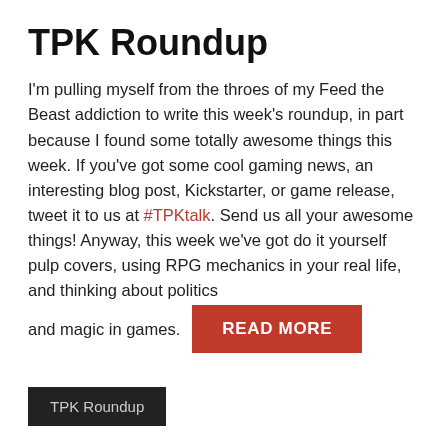TPK Roundup
I'm pulling myself from the throes of my Feed the Beast addiction to write this week's roundup, in part because I found some totally awesome things this week. If you've got some cool gaming news, an interesting blog post, Kickstarter, or game release, tweet it to us at #TPKtalk. Send us all your awesome things! Anyway, this week we've got do it yourself pulp covers, using RPG mechanics in your real life, and thinking about politics and magic in games.
READ MORE
TPK Roundup
FREE RPGS AND JELLO